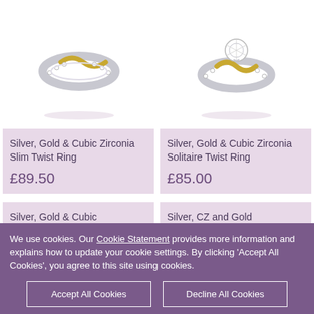[Figure (photo): Silver, gold and cubic zirconia slim twist ring jewelry photo on white background]
Silver, Gold & Cubic Zirconia Slim Twist Ring
£89.50
[Figure (photo): Silver, gold and cubic zirconia solitaire twist ring jewelry photo on white background]
Silver, Gold & Cubic Zirconia Solitaire Twist Ring
£85.00
Silver, Gold & Cubic
£90.00
Silver, CZ and Gold
£115.00
We use cookies. Our Cookie Statement provides more information and explains how to update your cookie settings. By clicking 'Accept All Cookies', you agree to this site using cookies.
Accept All Cookies
Decline All Cookies